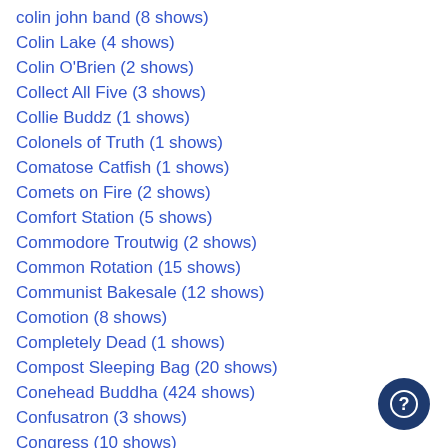colin john band  (8 shows)
Colin Lake  (4 shows)
Colin O'Brien  (2 shows)
Collect All Five  (3 shows)
Collie Buddz  (1 shows)
Colonels of Truth  (1 shows)
Comatose Catfish  (1 shows)
Comets on Fire  (2 shows)
Comfort Station  (5 shows)
Commodore Troutwig  (2 shows)
Common Rotation  (15 shows)
Communist Bakesale  (12 shows)
Comotion  (8 shows)
Completely Dead  (1 shows)
Compost Sleeping Bag  (20 shows)
Conehead Buddha  (424 shows)
Confusatron  (3 shows)
Congress  (10 shows)
Connor Kennedy  (22 shows)
Conscious Pilot  (8 shows)
Consider the Source  (231 shows)
Contact  (10 shows)
Continuous Play  (3 shows)